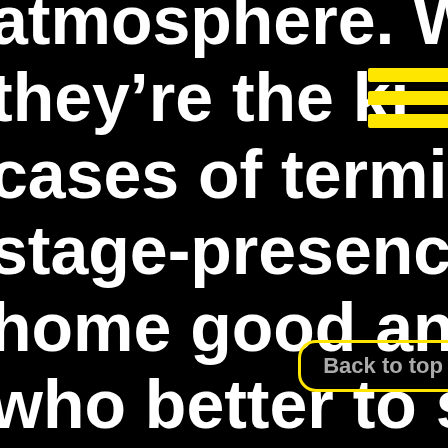atmosphere. Withi
they're the kin
cases of terminal b
stage-presence, 'ca
home good and toa
who better to start
sprightliest maveric
[Figure (other): Yellow hamburger menu icon (three horizontal yellow bars)]
Back to top